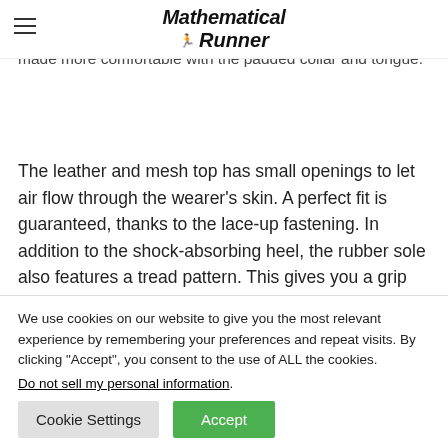Mathematical Runner
made of memory foam to shape of the foot to give it more support. ces make sure that the shoe fits well. It s also made more comfortable with the padded collar and tongue.
The leather and mesh top has small openings to let air flow through the wearer's skin. A perfect fit is guaranteed, thanks to the lace-up fastening. In addition to the shock-absorbing heel, the rubber sole also features a tread pattern. This gives you a grip on a wide range of surfaces.
We use cookies on our website to give you the most relevant experience by remembering your preferences and repeat visits. By clicking “Accept”, you consent to the use of ALL the cookies.
Do not sell my personal information.